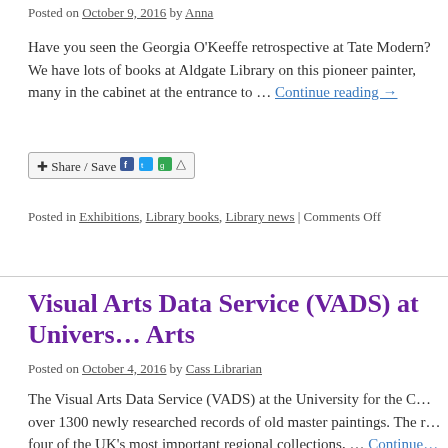Posted on October 9, 2016 by Anna
Have you seen the Georgia O'Keeffe retrospective at Tate Modern? We have lots of books at Aldgate Library on this pioneer painter, many in the cabinet at the entrance to … Continue reading →
[Figure (other): Share / Save button with social media icons (Facebook, Twitter, Google+)]
Posted in Exhibitions, Library books, Library news | Comments Off
Visual Arts Data Service (VADS) at University for the Creative Arts
Posted on October 4, 2016 by Cass Librarian
The Visual Arts Data Service (VADS) at the University for the Creative Arts has over 1300 newly researched records of old master paintings. The records include four of the UK's most important regional collections, … Continue reading